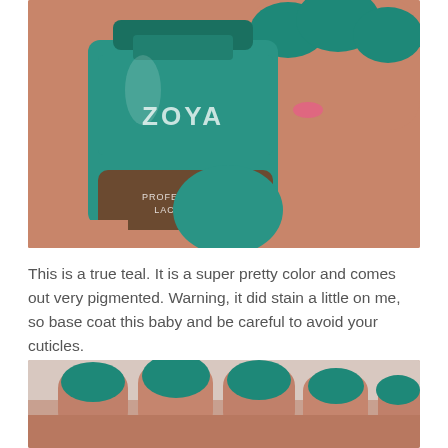[Figure (photo): A hand holding a teal Zoya Professional Lacquer nail polish bottle, with nails painted in the same teal color.]
This is a true teal. It is a super pretty color and comes out very pigmented. Warning, it did stain a little on me, so base coat this baby and be careful to avoid your cuticles.
[Figure (photo): Close-up of hand with teal painted nails resting on a light surface.]